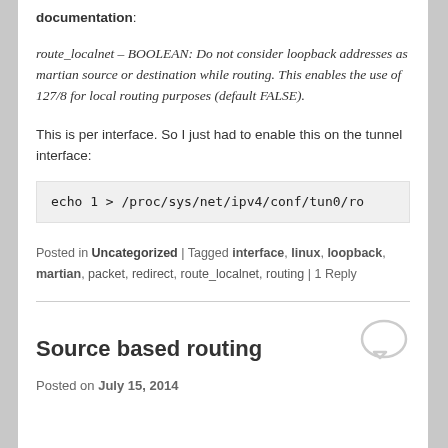documentation:
route_localnet – BOOLEAN: Do not consider loopback addresses as martian source or destination while routing. This enables the use of 127/8 for local routing purposes (default FALSE).
This is per interface. So I just had to enable this on the tunnel interface:
echo 1 > /proc/sys/net/ipv4/conf/tun0/ro
Posted in Uncategorized | Tagged interface, linux, loopback, martian, packet, redirect, route_localnet, routing | 1 Reply
Source based routing
Posted on July 15, 2014